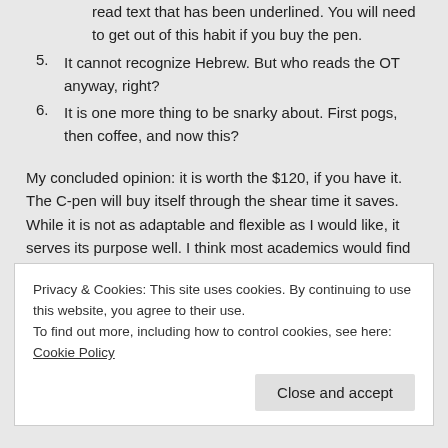5. It cannot recognize Hebrew. But who reads the OT anyway, right?
6. It is one more thing to be snarky about. First pogs, then coffee, and now this?
My concluded opinion: it is worth the $120, if you have it. The C-pen will buy itself through the shear time it saves. While it is not as adaptable and flexible as I would like, it serves its purpose well. I think most academics would find this pen valuable. You don't need the pen by your side 24/7, but it comes in handy after you markup a book or have a bunch of
Privacy & Cookies: This site uses cookies. By continuing to use this website, you agree to their use.
To find out more, including how to control cookies, see here: Cookie Policy